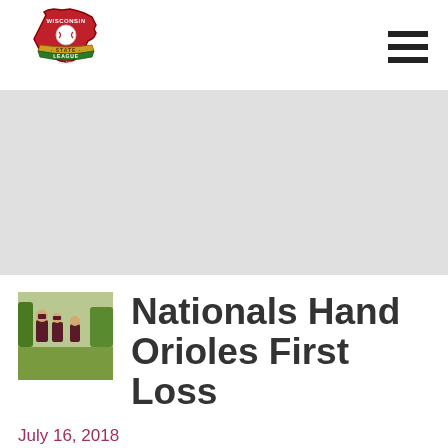[Figure (logo): Wisconsin State League logo — red Wisconsin state outline with baseball, green and gold banner reading 'STATE LEAGUE']
[Figure (other): Hamburger menu icon — three horizontal black bars]
[Figure (photo): Gray banner placeholder image area]
[Figure (photo): Small thumbnail photo of baseball players on a field, wearing dark maroon uniforms]
Nationals Hand Orioles First Loss
July 16, 2018